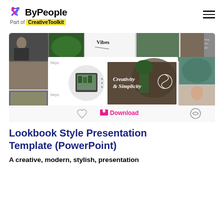ByPeople – Part of CreativeToolkit
[Figure (screenshot): Preview of Lookbook Style Presentation Template showing multiple slides with 'Creativity & Simplicity' text, plants, and people. Includes heart, Download, and link icons at bottom.]
Lookbook Style Presentation Template (PowerPoint)
A creative, modern, stylish, presentation